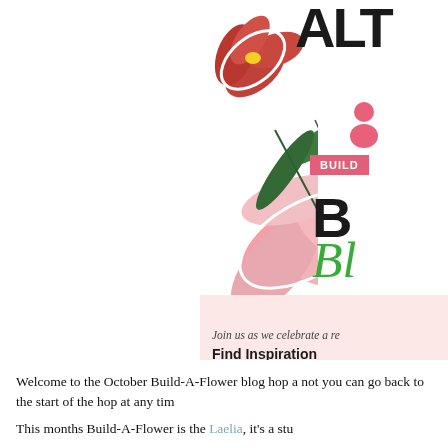[Figure (illustration): Floral illustration showing pink and red orchid/lily flowers with green leaves on white background, partially cropped. Right side shows pink banner with 'BUILD' text, large bold letter and green cursive text. Pink section at bottom with text 'Join us as we celebrate a re...' and 'Find Inspiration'.]
Welcome to the October Build-A-Flower blog hop a... not you can go back to the start of the hop at any tim...
This months Build-A-Flower is the Laelia, it's a stu...